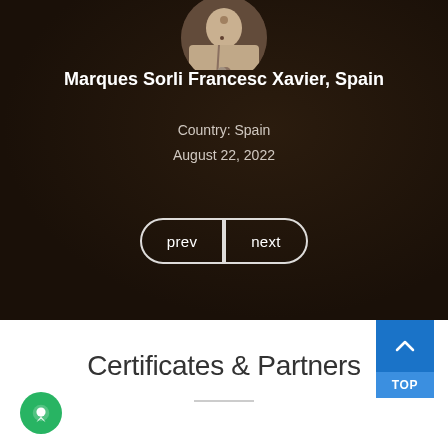[Figure (photo): Circular profile photo of a person at the top of a dark background section]
Marques Sorli Francesc Xavier, Spain
Country: Spain
August 22, 2022
prev  next
Certificates & Partners